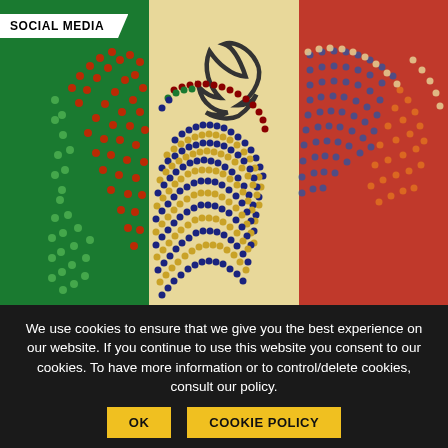[Figure (illustration): Decorative graphic showing EU Parliament seating plan arranged as the Italian flag (green, white/cream, red sections), with colored dots representing MEPs and a Twitter bird logo in the center white section. Top-left has a 'SOCIAL MEDIA' badge overlay.]
23 May 2019
The EU Parliament elections 2019 on Twitter – Italy
By Francesco Castelli and Carol Carcangiu
We use cookies to ensure that we give you the best experience on our website. If you continue to use this website you consent to our cookies. To have more information or to control/delete cookies, consult our policy.
OK
COOKIE POLICY